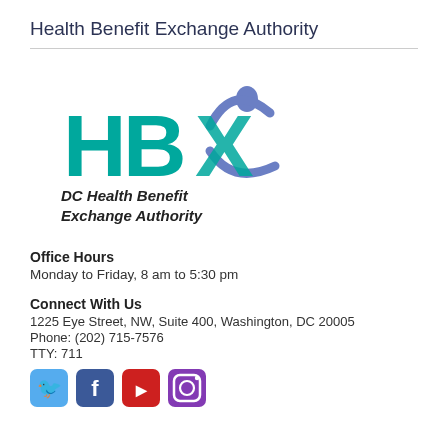Health Benefit Exchange Authority
[Figure (logo): DC Health Benefit Exchange Authority (HBX) logo with teal letters HBX and a blue figure, text below reading 'DC Health Benefit Exchange Authority']
Office Hours
Monday to Friday, 8 am to 5:30 pm
Connect With Us
1225 Eye Street, NW, Suite 400, Washington, DC 20005
Phone: (202) 715-7576
TTY: 711
[Figure (illustration): Social media icons: Twitter (light blue), Facebook (dark blue), YouTube (red), Instagram (purple gradient)]